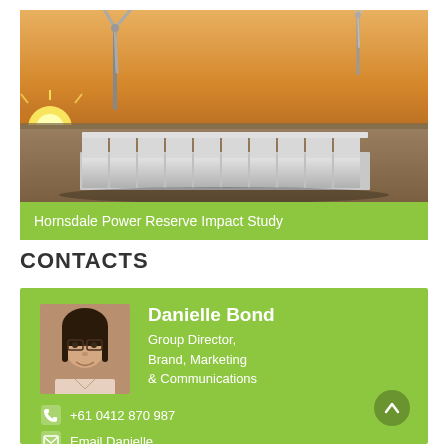[Figure (photo): Aerial photo of Hornsdale Power Reserve battery storage facility at sunset, with wind turbines in the background and golden sky.]
Hornsdale Power Reserve Impact Study
CONTACTS
Danielle Bond
Group Director, Brand, Marketing & Communications
+61 0412 870 987
Email Danielle